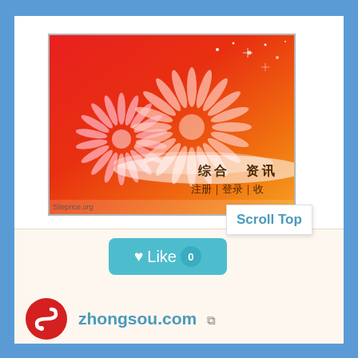[Figure (screenshot): Screenshot of zhongsou.com website showing a red and orange festive banner with fireworks/chrysanthemum designs, Chinese text reading 综合 资讯 and 注册|登录|收... A 'Scroll Top' tooltip/button is visible overlaid on the right side. A 'Siteprice.org' watermark appears at the bottom left of the screenshot.]
[Figure (other): A teal/cyan rounded rectangle 'Like' button with a heart icon, the word 'Like', and a circular badge showing '0']
Scroll Top
[Figure (logo): zhongsou.com logo: red circle with a white stylized 'S' or snake/search icon]
zhongsou.com